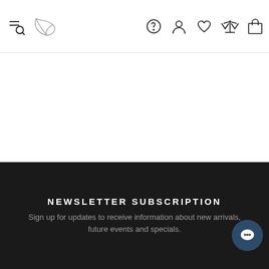Navigation header with menu/search icon, leaf logo, help, account, wishlist, compare, cart icons
NEWSLETTER SUBSCRIPTION
Sign up for updates to receive information about new arrivals, future events and specials.